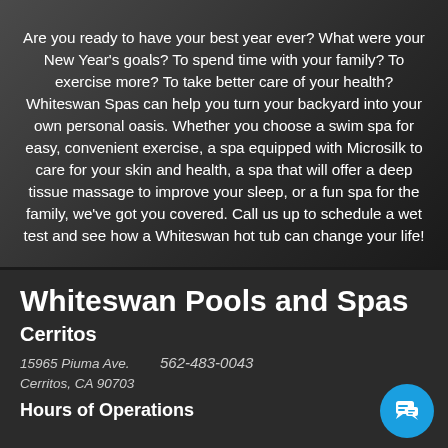Are you ready to have your best year ever? What were your New Year's goals? To spend time with your family? To exercise more? To take better care of your health? Whiteswan Spas can help you turn your backyard into your own personal oasis. Whether you choose a swim spa for easy, convenient exercise, a spa equipped with Microsilk to care for your skin and health, a spa that will offer a deep tissue massage to improve your sleep, or a fun spa for the family, we've got you covered. Call us up to schedule a wet test and see how a Whiteswan hot tub can change your life!
Whiteswan Pools and Spas
Cerritos
15965 Piuma Ave.
Cerritos, CA 90703
562-483-0043
Hours of Operations